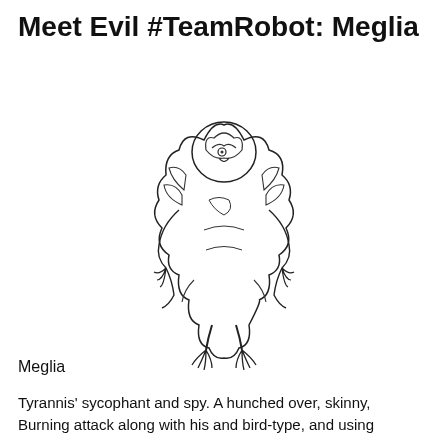Meet Evil #TeamRobot: Meglia
[Figure (illustration): Line drawing of Meglia, a hunched over creature with a large rounded body covered in plant-like growths and drooping appendages, bird-like taloned feet, and a small owl-like face with a dark eye visible.]
Meglia
Tyrannis' sycophant and spy. A hunched over, skinny, Burning attack along with his and bird-type, and using